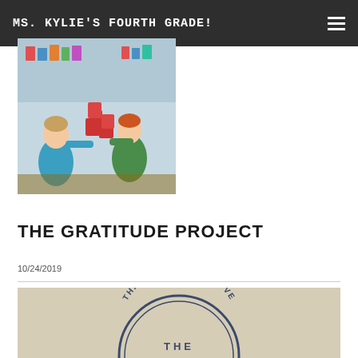MS. KYLIE'S FOURTH GRADE!
[Figure (photo): Children in a classroom working with red plastic cups, stacking or building something. A boy in a teal shirt is visible on the left, and a child in a green shirt is on the right.]
THE GRATITUDE PROJECT
10/24/2019
[Figure (photo): Close-up of a circular stamp or rubber stamp impression on beige/tan paper that reads 'THANK YOUS AND LOVE THE' in a semi-circular arc arrangement.]